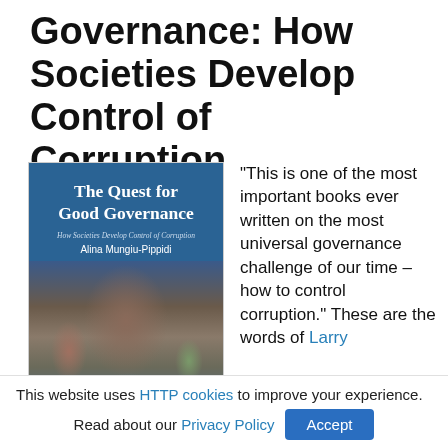Governance: How Societies Develop Control of Corruption
[Figure (photo): Book cover of 'The Quest for Good Governance: How Societies Develop Control of Corruption' by Alina Mungiu-Pippidi, with a blue background and a medieval painting detail showing figures in historical dress.]
“This is one of the most important books ever written on the most universal governance challenge of our time – how to control corruption.” These are the words of Larry
This website uses HTTP cookies to improve your experience.
Read about our Privacy Policy  Accept